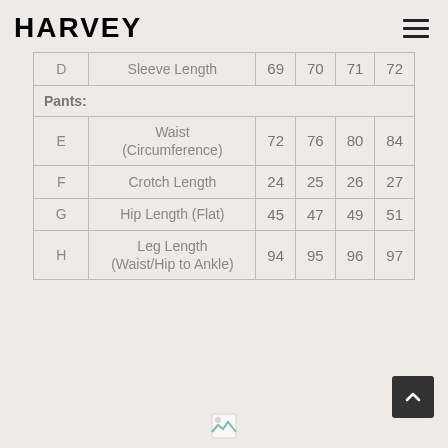HARVEY
|  |  | Col1 | Col2 | Col3 | Col4 |
| --- | --- | --- | --- | --- | --- |
| D | Sleeve Length | 69 | 70 | 71 | 72 |
| Pants: |  |  |  |  |  |
| E | Waist (Circumference) | 72 | 76 | 80 | 84 |
| F | Crotch Length | 24 | 25 | 26 | 27 |
| G | Hip Length (Flat) | 45 | 47 | 49 | 51 |
| H | Leg Length (Waist/Hip to Ankle) | 94 | 95 | 96 | 97 |